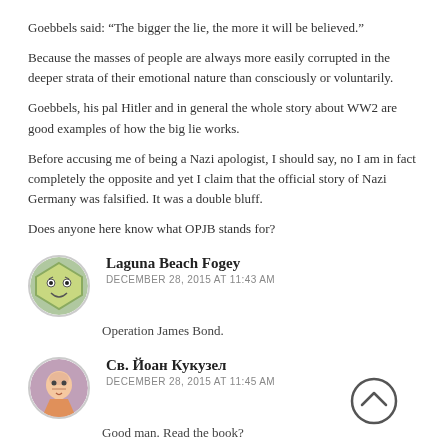Goebbels said: “The bigger the lie, the more it will be believed.”
Because the masses of people are always more easily corrupted in the deeper strata of their emotional nature than consciously or voluntarily.
Goebbels, his pal Hitler and in general the whole story about WW2 are good examples of how the big lie works.
Before accusing me of being a Nazi apologist, I should say, no I am in fact completely the opposite and yet I claim that the official story of Nazi Germany was falsified. It was a double bluff.
Does anyone here know what OPJB stands for?
Laguna Beach Fogey
DECEMBER 28, 2015 AT 11:43 AM
Operation James Bond.
Св. Йоан Кукузел
DECEMBER 28, 2015 AT 11:45 AM
Good man. Read the book?